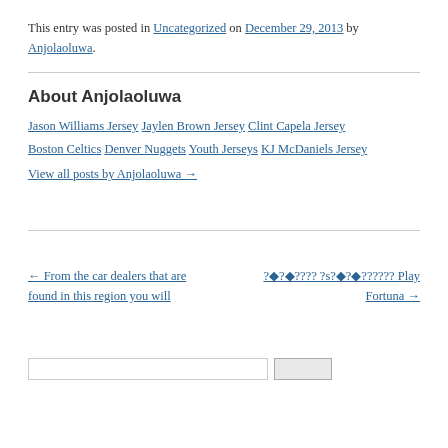This entry was posted in Uncategorized on December 29, 2013 by Anjolaoluwa.
About Anjolaoluwa
Jason Williams Jersey Jaylen Brown Jersey Clint Capela Jersey Boston Celtics Denver Nuggets Youth Jerseys KJ McDaniels Jersey
View all posts by Anjolaoluwa →
← From the car dealers that are found in this region you will
?◆?◆???? ?s?◆?◆?????? Play Fortuna →